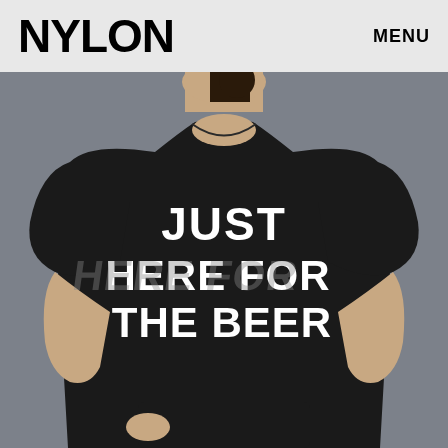NYLON    MENU
[Figure (photo): A woman wearing a black t-shirt with the text 'JUST HERE FOR THE BEER' printed in large white bold letters on the front. The background is grey. The photo is cropped from the shoulders down to the upper thighs, with the woman's face partially visible at the top.]